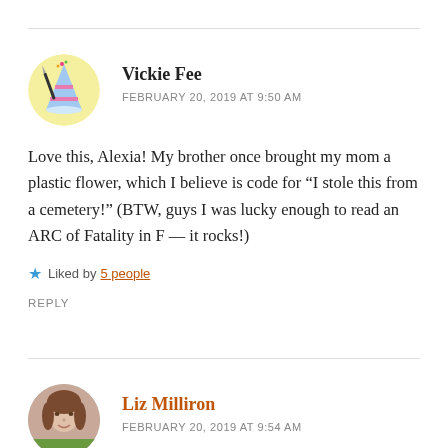[Figure (illustration): Round avatar with yellow background showing a party hat with confetti and a knife]
Vickie Fee
FEBRUARY 20, 2019 AT 9:50 AM
Love this, Alexia! My brother once brought my mom a plastic flower, which I believe is code for “I stole this from a cemetery!” (BTW, guys I was lucky enough to read an ARC of Fatality in F — it rocks!)
Liked by 5 people
REPLY
[Figure (photo): Round avatar showing a woman with brown hair outdoors]
Liz Milliron
FEBRUARY 20, 2019 AT 9:54 AM